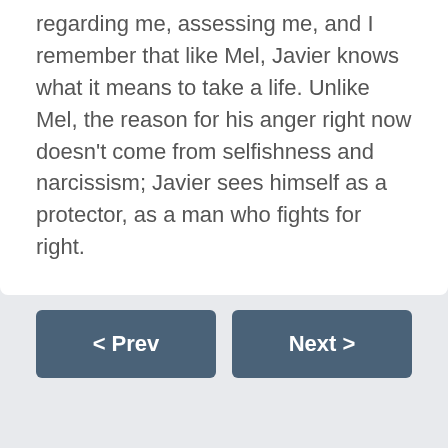regarding me, assessing me, and I remember that like Mel, Javier knows what it means to take a life. Unlike Mel, the reason for his anger right now doesn't come from selfishness and narcissism; Javier sees himself as a protector, as a man who fights for right.
< Prev    Next >